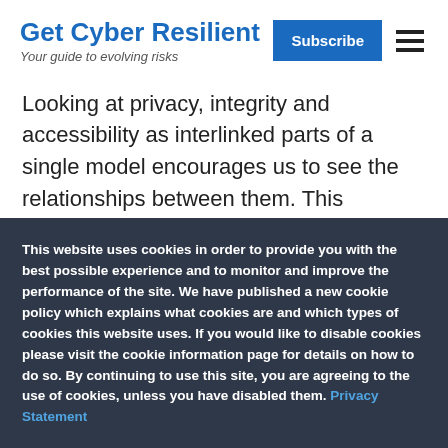Get Cyber Resilient — Your guide to evolving risks
Looking at privacy, integrity and accessibility as interlinked parts of a single model encourages us to see the relationships between them. This relationship
This website uses cookies in order to provide you with the best possible experience and to monitor and improve the performance of the site. We have published a new cookie policy which explains what cookies are and which types of cookies this website uses. If you would like to disable cookies please visit the cookie information page for details on how to do so. By continuing to use this site, you are agreeing to the use of cookies, unless you have disabled them. Privacy Statement
Accept